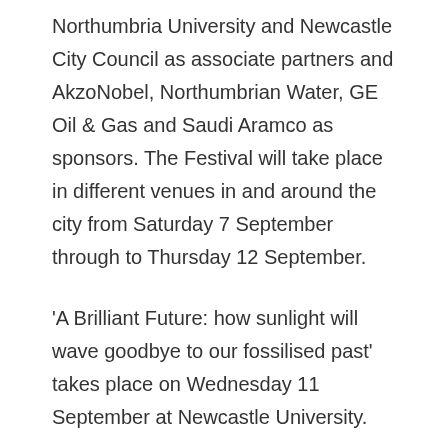Northumbria University and Newcastle City Council as associate partners and AkzoNobel, Northumbrian Water, GE Oil & Gas and Saudi Aramco as sponsors. The Festival will take place in different venues in and around the city from Saturday 7 September through to Thursday 12 September.
'A Brilliant Future: how sunlight will wave goodbye to our fossilised past' takes place on Wednesday 11 September at Newcastle University.
For more information about the session, visit